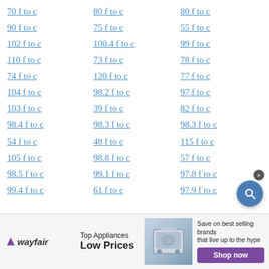70 f to c
80 f to c
80 f to c
90 f to c
75 f to c
55 f to c
102 f to c
100.4 f to c
99 f to c
110 f to c
73 f to c
78 f to c
74 f to c
120 f to c
77 f to c
104 f to c
98.2 f to c
97 f to c
103 f to c
39 f to c
82 f to c
98.4 f to c
98.3 f to c
98.3 f to c
54 f to c
48 f to c
115 f to c
105 f to c
98.8 f to c
57 f to c
98.5 f to c
99.1 f to c
97.8 f to c
99.4 f to c
61 f to c
97.9 f to c
[Figure (other): Wayfair advertisement banner: Top Appliances Low Prices, Shop now button]